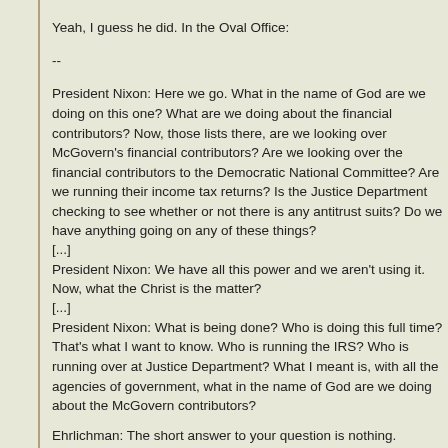Yeah, I guess he did. In the Oval Office:
--
President Nixon: Here we go. What in the name of God are we doing on this one? What are we doing about the financial contributors? Now, those lists there, are we looking over McGovern's financial contributors? Are we looking over the financial contributors to the Democratic National Committee? Are we running their income tax returns? Is the Justice Department checking to see whether or not there is any antitrust suits? Do we have anything going on any of these things?
[...]
President Nixon: We have all this power and we aren't using it. Now, what the Christ is the matter?
[...]
President Nixon: What is being done? Who is doing this full time? That's what I want to know. Who is running the IRS? Who is running over at Justice Department? What I meant is, with all the agencies of government, what in the name of God are we doing about the McGovern contributors?
Ehrlichman: The short answer to your question is nothing.